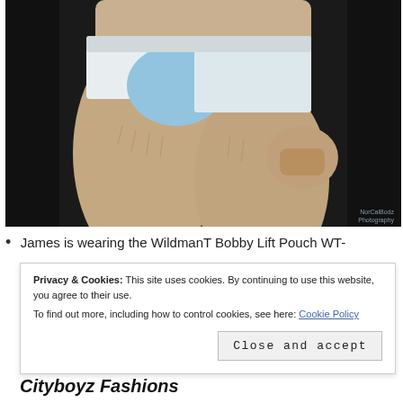[Figure (photo): A man wearing light blue/white WildmanT Bobby Lift Pouch underwear briefs, photographed against a dark background. Lower torso and legs visible. NorCalBodz Photography watermark in bottom right.]
James is wearing the WildmanT Bobby Lift Pouch WT-
Privacy & Cookies: This site uses cookies. By continuing to use this website, you agree to their use.
To find out more, including how to control cookies, see here: Cookie Policy
Close and accept
Cityboyz Fashions